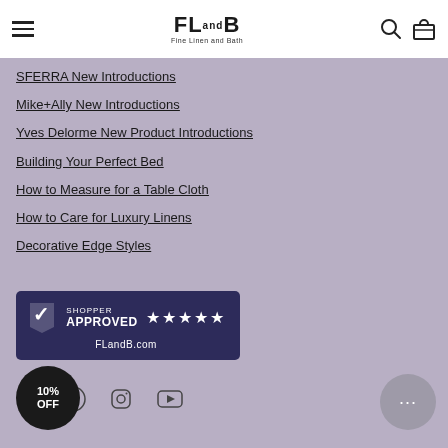[Figure (logo): FLandB Fine Linen and Bath logo with menu icon and search/cart icons in white header bar]
SFERRA New Introductions
Mike+Ally New Introductions
Yves Delorme New Product Introductions
Building Your Perfect Bed
How to Measure for a Table Cloth
How to Care for Luxury Linens
Decorative Edge Styles
[Figure (logo): Shopper Approved 5-star badge with FLandB.com text on dark purple background]
[Figure (infographic): Social media icons: Pinterest, Instagram, YouTube]
10% OFF
[Figure (other): Chat bubble button with ellipsis]